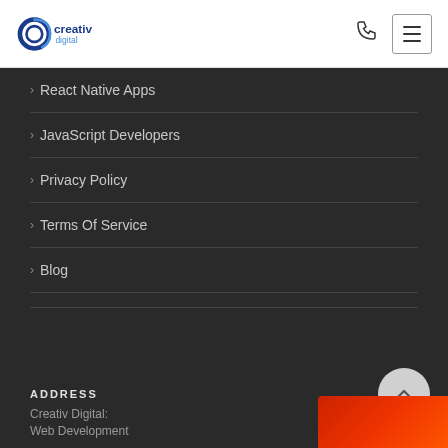Creativ Digital
> React Native Apps
> JavaScript Developers
> Privacy Policy
> Terms Of Service
> Blog
ADDRESS
Creativ Digital:
Web Development